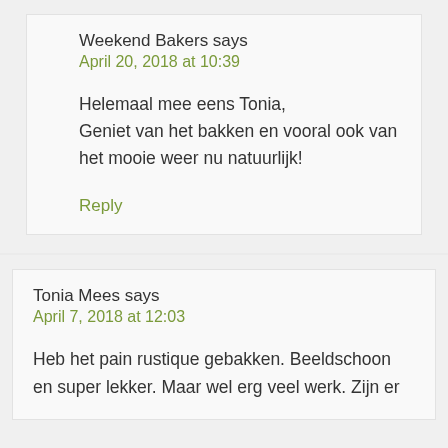Weekend Bakers says
April 20, 2018 at 10:39
Helemaal mee eens Tonia,
Geniet van het bakken en vooral ook van het mooie weer nu natuurlijk!
Reply
Tonia Mees says
April 7, 2018 at 12:03
Heb het pain rustique gebakken. Beeldschoon en super lekker. Maar wel erg veel werk. Zijn er